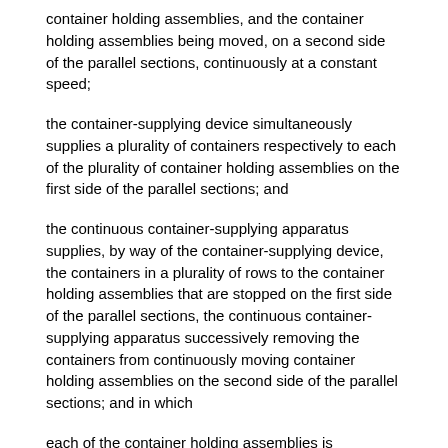container holding assemblies, and the container holding assemblies being moved, on a second side of the parallel sections, continuously at a constant speed;
the container-supplying device simultaneously supplies a plurality of containers respectively to each of the plurality of container holding assemblies on the first side of the parallel sections; and
the continuous container-supplying apparatus supplies, by way of the container-supplying device, the containers in a plurality of rows to the container holding assemblies that are stopped on the first side of the parallel sections, the continuous container-supplying apparatus successively removing the containers from continuously moving container holding assemblies on the second side of the parallel sections; and in which
each of the container holding assemblies is comprised of a right-side holding member and a left-side holding member that hold each of the containers between the right-side holding member and left-side holding member; and